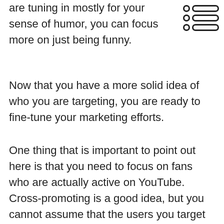are tuning in mostly for your sense of humor, you can focus more on just being funny.
[Figure (other): Stack of three rows, each with a small circle icon and a thick rounded rectangle bar, used as a decorative/navigation icon in the top-right corner.]
Now that you have a more solid idea of who you are targeting, you are ready to fine-tune your marketing efforts.
One thing that is important to point out here is that you need to focus on fans who are actually active on YouTube. Cross-promoting is a good idea, but you cannot assume that the users you target on Facebook, Twitter, and other sites are active on YouTube as well. They may be members of the same target demographic, but that does not guarantee that they will help you to